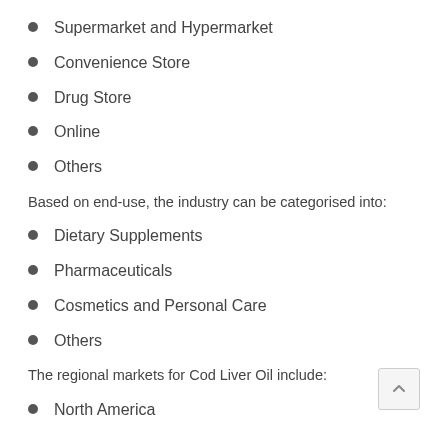Supermarket and Hypermarket
Convenience Store
Drug Store
Online
Others
Based on end-use, the industry can be categorised into:
Dietary Supplements
Pharmaceuticals
Cosmetics and Personal Care
Others
The regional markets for Cod Liver Oil include:
North America